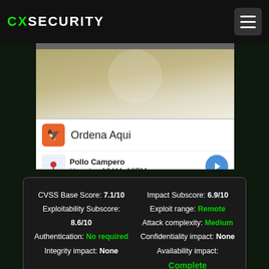CXSECURITY
[Figure (screenshot): Mobile app advertisement showing Ordena Aqui with Pollo Campero restaurant listing in Herndon, 10AM-10PM]
| CVSS Base Score: 7.1/10 | Impact Subscore: 6.9/10 |
| Exploitability Subscore: 8.6/10 | Exploit range: Remote |
| Authentication: No required | Attack complexity: Medium |
| Integrity impact: None | Confidentiality impact: None |
|  | Availability impact: Complete |
Original at:
https://www.nightwatchcybersecurity.com/2016/10/04/advisory-cve-2016-5348-2/
Summary